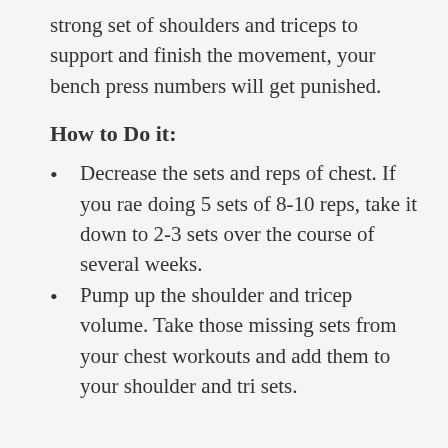strong set of shoulders and triceps to support and finish the movement, your bench press numbers will get punished.
How to Do it:
Decrease the sets and reps of chest. If you rae doing 5 sets of 8-10 reps, take it down to 2-3 sets over the course of several weeks.
Pump up the shoulder and tricep volume. Take those missing sets from your chest workouts and add them to your shoulder and tri sets.